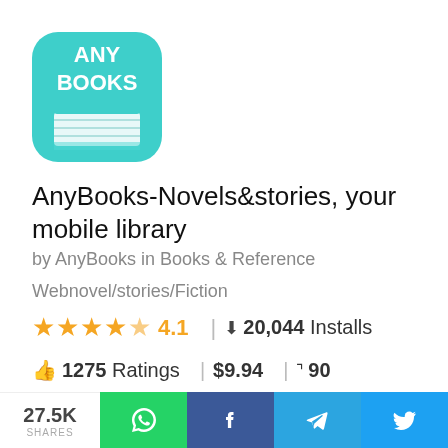[Figure (logo): AnyBooks app icon — teal/turquoise rounded square with white bold text ANY BOOKS and a white book graphic at the bottom]
AnyBooks-Novels&stories, your mobile library
by AnyBooks in Books & Reference
Webnovel/stories/Fiction
★★★★½ 4.1  |  ⬇ 20,044 Installs
👍 1275 Ratings  |  $9.94  |  ⊞ 90 Alternatives
27.5K SHARES